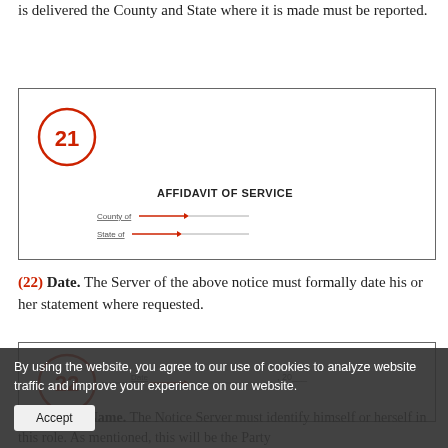is delivered the County and State where it is made must be reported.
[Figure (other): Form section numbered 21 with a red circle around '21', titled 'AFFIDAVIT OF SERVICE' with fields for County of and State of, and red arrows pointing to fill-in lines.]
(22) Date. The Server of the above notice must formally date his or her statement where requested.
[Figure (other): Form section numbered 22 with a red circle around '22', and a Date field with an arrow pointing to a fill-in line followed by ', 20__'.]
By using the website, you agree to our use of cookies to analyze website traffic and improve your experience on our website.
(23) Server Name. The Notice Server must identify himself or herself in this role. As mentioned, this will be the Party ...red the above notice to the appropriate ...ll now verify that this act was done.